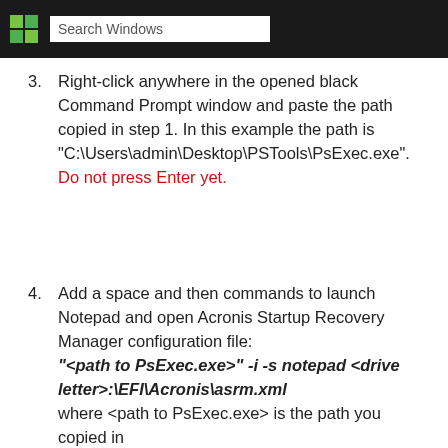[Figure (screenshot): Windows taskbar showing the Windows logo and a Search Windows search box on a dark/black background]
3. Right-click anywhere in the opened black Command Prompt window and paste the path copied in step 1. In this example the path is "C:\Users\admin\Desktop\PSTools\PsExec.exe". Do not press Enter yet.
4. Add a space and then commands to launch Notepad and open Acronis Startup Recovery Manager configuration file: "<path to PsExec.exe>" -i -s notepad <drive letter>:\EFI\Acronis\asrm.xml where <path to PsExec.exe> is the path you copied in